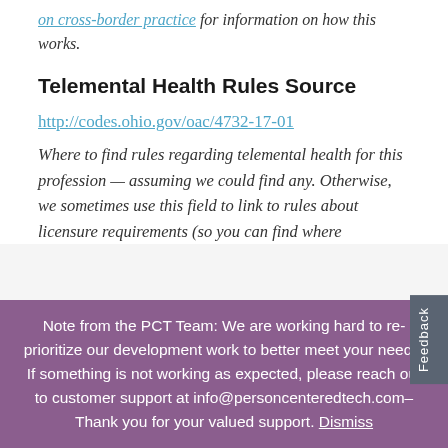on cross-border practice for information on how this works.
Telemental Health Rules Source
http://codes.ohio.gov/oac/4732-17-01
Where to find rules regarding telemental health for this profession — assuming we could find any. Otherwise, we sometimes use this field to link to rules about licensure requirements (so you can find where
Note from the PCT Team: We are working hard to re-prioritize our development work to better meet your needs. If something is not working as expected, please reach out to customer support at info@personcenteredtech.com– Thank you for your valued support. Dismiss